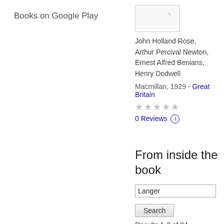Books on Google Play
[Figure (illustration): Book cover thumbnail, small white rectangle with a faint illustration mark]
John Holland Rose, Arthur Percival Newton, Ernest Alfred Benians, Henry Dodwell
Macmillan, 1929 - Great Britain
★★★★★
0 Reviews ⓘ
From inside the book
Langer
Search
Results 1-3 of 84
Page 503
2 Langer , op . cit . pp . 290–2 ; Meyendorff , A. , Corresp . diplomatique